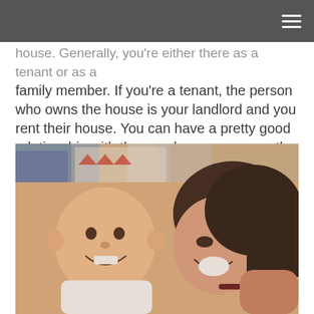house. Generally, you're either there as a tenant or as a family member. If you're a tenant, the person who owns the house is your landlord and you rent their house. You can have a pretty good relationship with them as long as you pay the rent and respect the property.
[Figure (photo): A smiling baby and a laughing woman leaning toward each other, outdoors/indoors setting.]